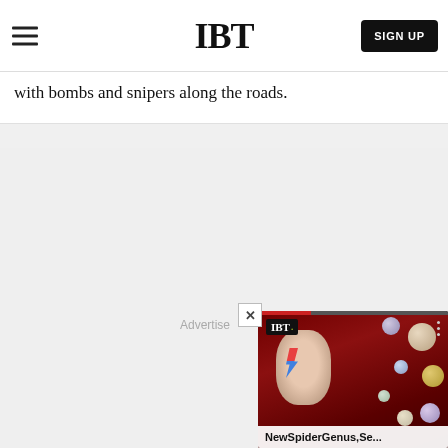IBT | SIGN UP
with bombs and snipers along the roads.
[Figure (screenshot): IBT website screenshot showing navigation header with hamburger menu, IBT logo, and SIGN UP button, with partial article text and a video popup overlay featuring an IBT branded video player showing 'NewSpiderGenus,Se...' with a thumbnail of a person with face paint surrounded by planets, and an Advertise label in the gray content area]